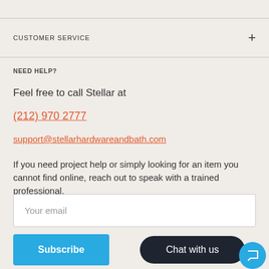CUSTOMER SERVICE
NEED HELP?
Feel free to call Stellar at
(212) 970 2777
support@stellarhardwareandbath.com
If you need project help or simply looking for an item you cannot find online, reach out to speak with a trained professional.
Your email
Subscribe
Chat with us